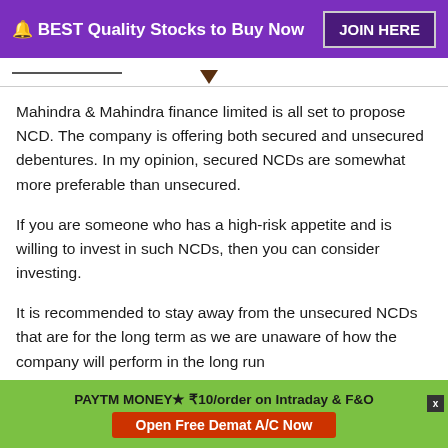🔔 BEST Quality Stocks to Buy Now  JOIN HERE
Mahindra & Mahindra finance limited is all set to propose NCD. The company is offering both secured and unsecured debentures. In my opinion, secured NCDs are somewhat more preferable than unsecured.
If you are someone who has a high-risk appetite and is willing to invest in such NCDs, then you can consider investing.
It is recommended to stay away from the unsecured NCDs that are for the long term as we are unaware of how the company will perform in the long run
PAYTM MONEY★ ₹10/order on Intraday & F&O  Open Free Demat A/C Now